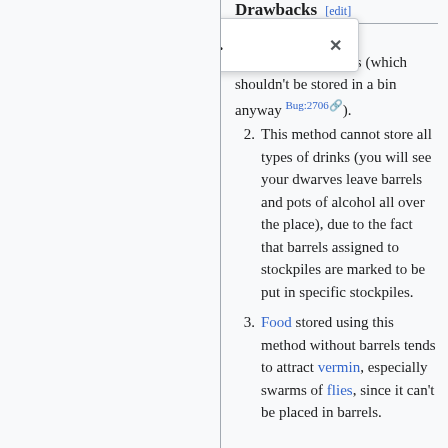Drawbacks [edit]
[Figure (screenshot): Toast notification popup saying 'Your edit was saved.' with a green checkmark and an X close button]
ot store r barrels at all, including bolts (which shouldn't be stored in a bin anyway Bug:2706).
2. This method cannot store all types of drinks (you will see your dwarves leave barrels and pots of alcohol all over the place), due to the fact that barrels assigned to stockpiles are marked to be put in specific stockpiles.
3. Food stored using this method without barrels tends to attract vermin, especially swarms of flies, since it can't be placed in barrels.